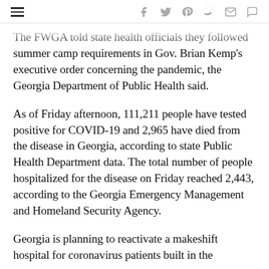[hamburger menu] [social icons: facebook, twitter, pinterest, reddit, email, comment]
The FWGA told state health officials they followed summer camp requirements in Gov. Brian Kemp's executive order concerning the pandemic, the Georgia Department of Public Health said.
As of Friday afternoon, 111,211 people have tested positive for COVID-19 and 2,965 have died from the disease in Georgia, according to state Public Health Department data. The total number of people hospitalized for the disease on Friday reached 2,443, according to the Georgia Emergency Management and Homeland Security Agency.
Georgia is planning to reactivate a makeshift hospital for coronavirus patients built in the